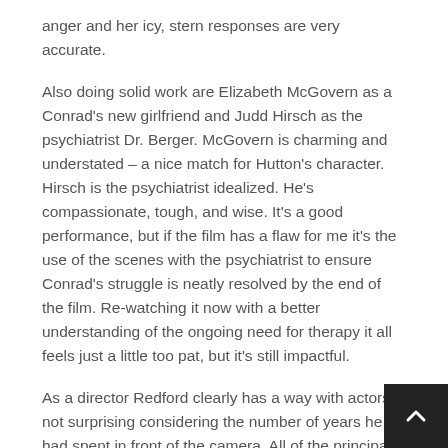anger and her icy, stern responses are very accurate.
Also doing solid work are Elizabeth McGovern as a Conrad's new girlfriend and Judd Hirsch as the psychiatrist Dr. Berger. McGovern is charming and understated – a nice match for Hutton's character. Hirsch is the psychiatrist idealized. He's compassionate, tough, and wise. It's a good performance, but if the film has a flaw for me it's the use of the scenes with the psychiatrist to ensure Conrad's struggle is neatly resolved by the end of the film. Re-watching it now with a better understanding of the ongoing need for therapy it all feels just a little too pat, but it's still impactful.
As a director Redford clearly has a way with actors, not surprising considering the number of years he had spent in front of the camera. All of the principals gave the best performances of their careers under his patient care. There isn't a false note among them. Visually, he also knew what he was doing. The film has been described as a chamber piece which, taken negatively, could mean slow. But the pace of Ordinary People is deliberate – he has a g… leisurely approach to telling the story that works and is never